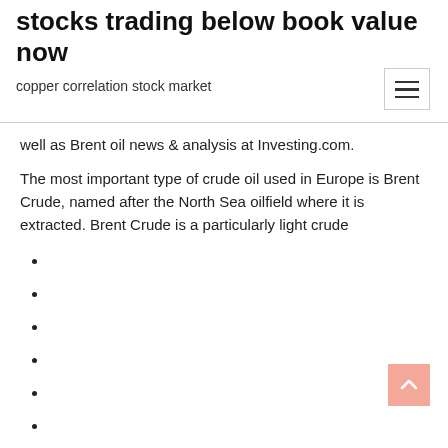stocks trading below book value now
copper correlation stock market
well as Brent oil news & analysis at Investing.com.
The most important type of crude oil used in Europe is Brent Crude, named after the North Sea oilfield where it is extracted. Brent Crude is a particularly light crude